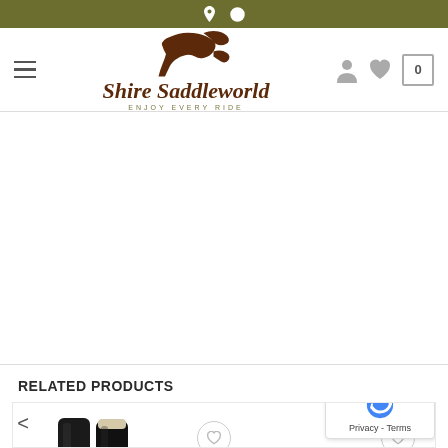Shire Saddleworld - ENJOY EVERY RIDE
FREE SHIPPING ON ORDERS OVER $150*
RELATED PRODUCTS
[Figure (photo): Black leather tall riding boots product photo shown from left and right side angles]
Privacy - Terms